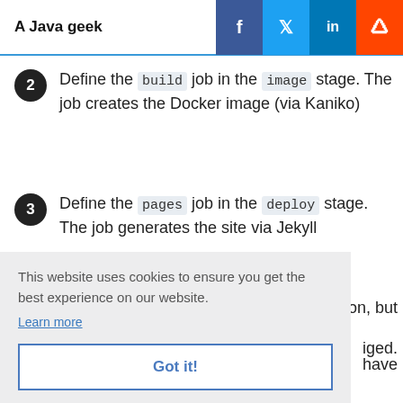A Java geek
Define the build job in the image stage. The job creates the Docker image (via Kaniko)
Define the pages job in the deploy stage. The job generates the site via Jekyll
Build the master branch only
This website uses cookies to ensure you get the best experience on our website. Learn more  Got it!